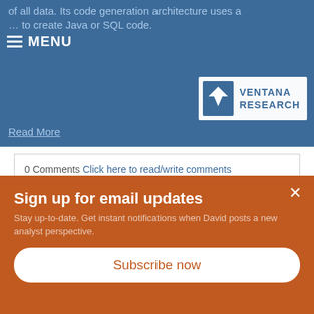of all data. Its code generation architecture uses a … to create Java or SQL code.
Read More
0 Comments Click here to read/write comments
Topics: Analytics, Business Intelligence, Collaboration, Data Governance, Data Preparation, Information Management, Data, Digital Technology, data lakes, AI and Machine Learning
Sign up for email updates
Stay up-to-date. Get instant notifications when David posts a new analyst perspective.
Subscribe now